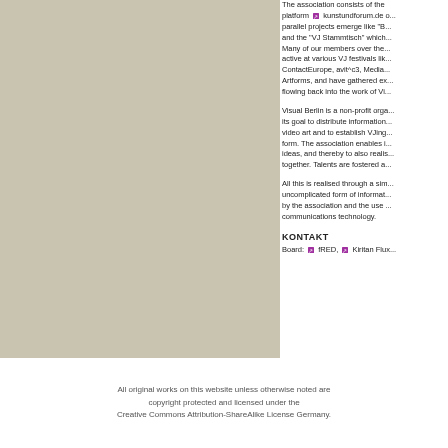The association consists of the platform kunstundforum.de and parallel projects emerge like "B..." and the "VJ Stammtisch" which... Many of our members over the... active at various VJ festivals like... ContactEurope, avit^c3, Media... Artforms, and have gathered ex... flowing back into the work of Vi...
Visual Berlin is a non-profit orga... its goal to distribute information... video art and to establish VJing... form. The association enables i... ideas, and thereby to also realis... together. Talents are fostered a...
All this is realised through a sim... uncomplicated form of informat... by the association and the use ... communications technology.
KONTAKT
Board: fRED, Kiritan Flux...
All original works on this website unless otherwise noted are copyright protected and licensed under the Creative Commons Attribution-ShareAlike License Germany.